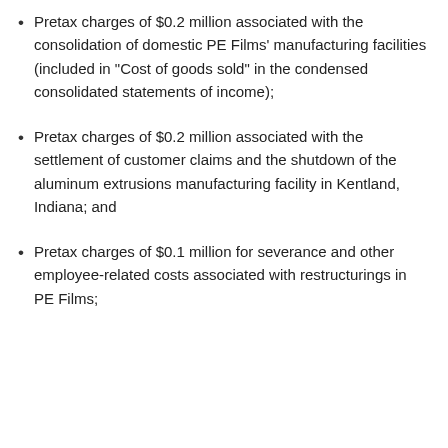Pretax charges of $0.2 million associated with the consolidation of domestic PE Films' manufacturing facilities (included in “Cost of goods sold” in the condensed consolidated statements of income);
Pretax charges of $0.2 million associated with the settlement of customer claims and the shutdown of the aluminum extrusions manufacturing facility in Kentland, Indiana; and
Pretax charges of $0.1 million for severance and other employee-related costs associated with restructurings in PE Films;